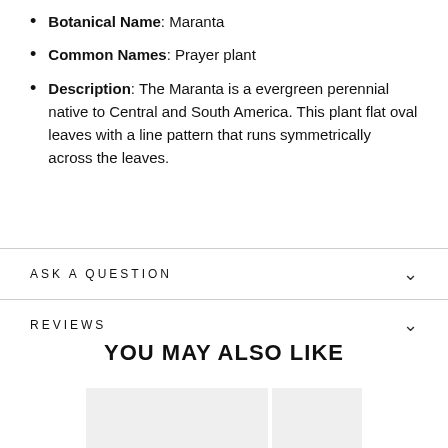Botanical Name: Maranta
Common Names: Prayer plant
Description: The Maranta is a evergreen perennial native to Central and South America. This plant flat oval leaves with a line pattern that runs symmetrically across the leaves.
ASK A QUESTION
REVIEWS
YOU MAY ALSO LIKE